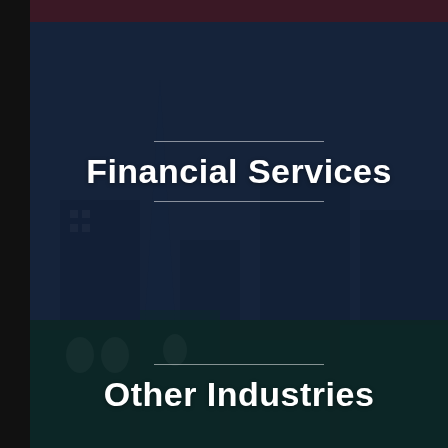[Figure (photo): Dark overlay cityscape background image showing city buildings and a church spire, split into two tonal sections — dark navy blue on top, dark teal on bottom — with a narrow dark strip at the very top and a black left bar.]
Financial Services
Other Industries